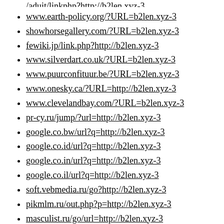www.earth-policy.org/?URL=b2len.xyz-3
showhorsegallery.com/?URL=b2len.xyz-3
fewiki.jp/link.php?http://b2len.xyz-3
www.silverdart.co.uk/?URL=b2len.xyz-3
www.puurconfituur.be/?URL=b2len.xyz-3
www.onesky.ca/?URL=http://b2len.xyz-3
www.clevelandbay.com/?URL=b2len.xyz-3
pr-cy.ru/jump/?url=http://b2len.xyz-3
google.co.bw/url?q=http://b2len.xyz-3
google.co.id/url?q=http://b2len.xyz-3
google.co.in/url?q=http://b2len.xyz-3
google.co.il/url?q=http://b2len.xyz-3
soft.vebmedia.ru/go?http://b2len.xyz-3
pikmlm.ru/out.php?p=http://b2len.xyz-3
masculist.ru/go/url=http://b2len.xyz-3
www.and-rey.ru/inc/go3.php/b2len.xyz-3
chessburg.ru/go.php?http://b2len.xyz-3
www.21yibiao.com/go.php?go=b2len.xyz-3